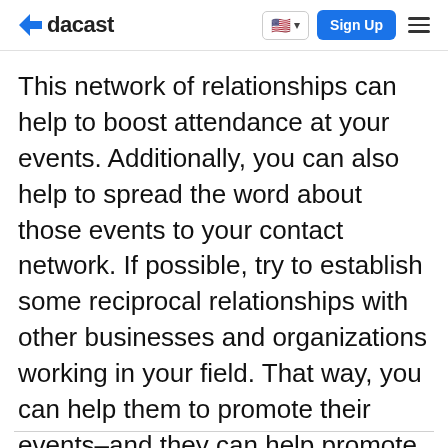dacast
This network of relationships can help to boost attendance at your events. Additionally, you can also help to spread the word about those events to your contact network. If possible, try to establish some reciprocal relationships with other businesses and organizations working in your field. That way, you can help them to promote their events–and they can help promote yours!